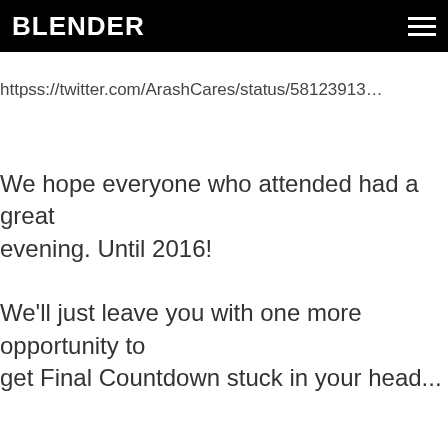BLENDER
httpss://twitter.com/ArashCares/status/58123913…
We hope everyone who attended had a great evening. Until 2016!
We'll just leave you with one more opportunity to get Final Countdown stuck in your head...